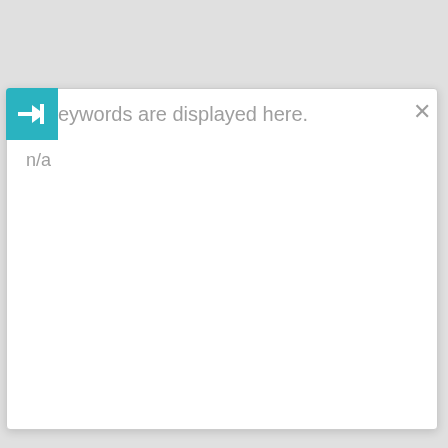[Figure (screenshot): A UI modal/dialog box with a teal arrow button on the left, placeholder text 'eywords are displayed here.' in gray, and a close (×) button on the right. Below the header area, the text 'n/a' appears in gray.]
eywords are displayed here.
n/a